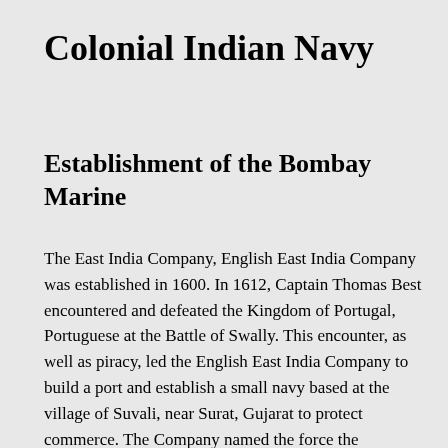Colonial Indian Navy
Establishment of the Bombay Marine
The East India Company, English East India Company was established in 1600. In 1612, Captain Thomas Best encountered and defeated the Kingdom of Portugal, Portuguese at the Battle of Swally. This encounter, as well as piracy, led the English East India Company to build a port and establish a small navy based at the village of Suvali, near Surat, Gujarat to protect commerce. The Company named the force the "Honourable East India Company's Marine", and the first fighting ships arrived on 5 September 1612. This force protected merchant shipping off the Gulf of Cambay and the rivers River Tapti, Tapti and River Narmada, Narmada. The ships also helped map the coastlines of India, Persia and Arabia. In 1686, with